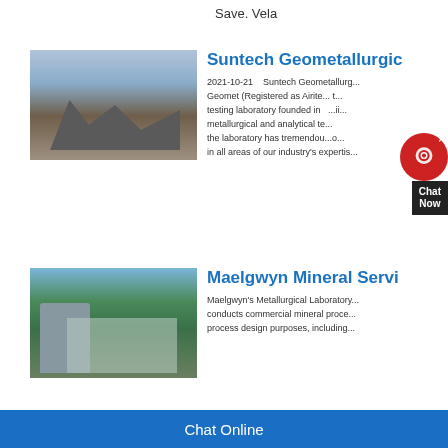Save. Vela
[Figure (photo): Industrial mining/crushing facility with conveyor belts and machinery outdoors]
Suntech Geometallurgic
2021-10-21    Suntech Geometallurg... Geomet (Registered as Airite... testing laboratory founded in ... metallurgical and analytical te... the laboratory has tremendou... in all areas of our industry's expertis...
[Figure (photo): Industrial mineral processing plant with silos and conveyor belts against green hills]
Maelgwyn Mineral Servi
Maelgwyn's Metallurgical Laboratory conducts commercial mineral proce... process design purposes, including...
Chat Online